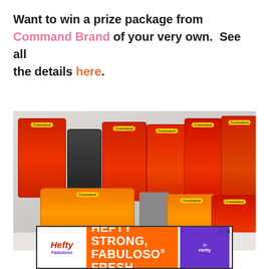Want to win a prize package from Command Brand of your very own.  See all the details here.
[Figure (photo): Photo of multiple Command Brand 3M product packages arranged on a white surface, including hooks, strips, and organizational tools in red, orange, and yellow packaging.]
[Figure (infographic): Hefty advertisement banner: 'HEFTY STRONG, FABULOSO FRESH' with Hefty and Fabuloso logos on an orange background.]